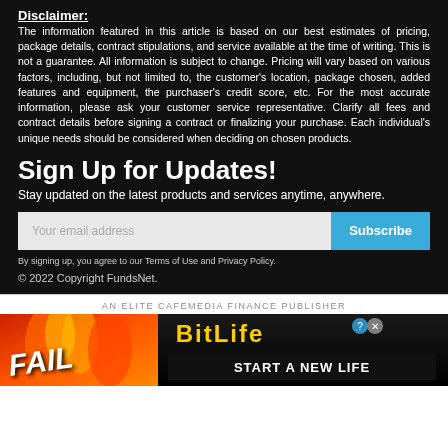Disclaimer:
The information featured in this article is based on our best estimates of pricing, package details, contract stipulations, and service available at the time of writing. This is not a guarantee. All information is subject to change. Pricing will vary based on various factors, including, but not limited to, the customer's location, package chosen, added features and equipment, the purchaser's credit score, etc. For the most accurate information, please ask your customer service representative. Clarify all fees and contract details before signing a contract or finalizing your purchase. Each individual's unique needs should be considered when deciding on chosen products.
Sign Up for Updates!
Stay updated on the latest products and services anytime, anywhere.
Your email address
Subscribe
By signing up, you agree to our Terms of Use and Privacy Policy.
© 2022 Copyright FundsNet.
AN ELITE CAFEMEDIA FINANCE PUBLISHER
[Figure (photo): Advertisement banner for BitLife mobile game showing 'FAIL' text with fire graphics and 'START A NEW LIFE' tagline on dark background]